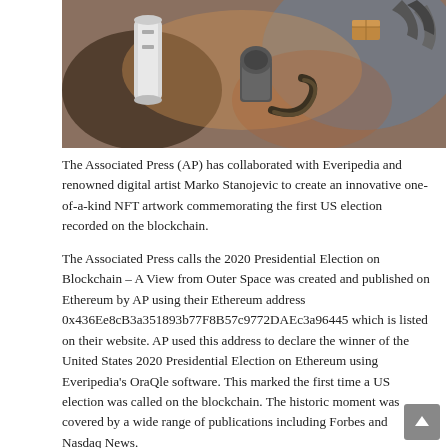[Figure (photo): Digital artwork showing robotic or space-suited figures against a colorful cosmic/nebula background, with objects floating in space]
The Associated Press (AP) has collaborated with Everipedia and renowned digital artist Marko Stanojevic to create an innovative one-of-a-kind NFT artwork commemorating the first US election recorded on the blockchain.
The Associated Press calls the 2020 Presidential Election on Blockchain – A View from Outer Space was created and published on Ethereum by AP using their Ethereum address 0x436Ee8cB3a351893b77F8B57c9772DAEc3a96445 which is listed on their website. AP used this address to declare the winner of the United States 2020 Presidential Election on Ethereum using Everipedia's OraQle software. This marked the first time a US election was called on the blockchain. The historic moment was covered by a wide range of publications including Forbes and Nasdaq News.